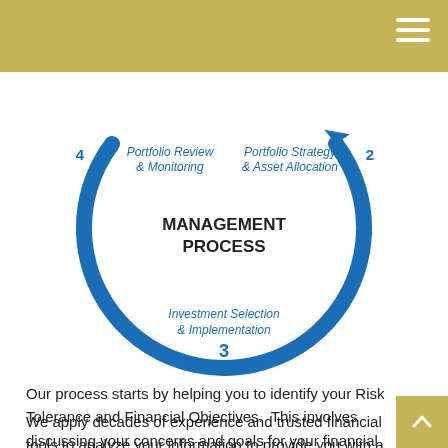[Figure (flowchart): Circular management process diagram with 4 labeled steps: 1 (partially visible, top center), 2 Portfolio Strategy & Asset Allocation (top right), 3 Investment Selection & Implementation (bottom center), 4 Portfolio Review & Monitoring (top left). Center text: MANAGEMENT PROCESS. Blue arc connecting steps 4 to 2 through 3.]
Our process starts by helping you to identify your Risk Tolerance and Financial Objectives.  This involves discussing your concerns and goals for your financial future.
We apply decades of experience and trusted financial tools to analyze your information to provide you with a specific detailed plan that includes a portfolio strategy and asset allocation.  We will discuss this